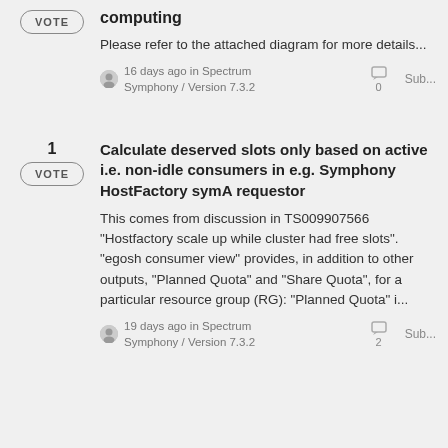computing
Please refer to the attached diagram for more details...
16 days ago in Spectrum Symphony / Version 7.3.2  0  Sub...
Calculate deserved slots only based on active i.e. non-idle consumers in e.g. Symphony HostFactory symA requestor
This comes from discussion in TS009907566 "Hostfactory scale up while cluster had free slots". "egosh consumer view" provides, in addition to other outputs, "Planned Quota" and "Share Quota", for a particular resource group (RG): "Planned Quota" i...
19 days ago in Spectrum Symphony / Version 7.3.2  2  Sub...